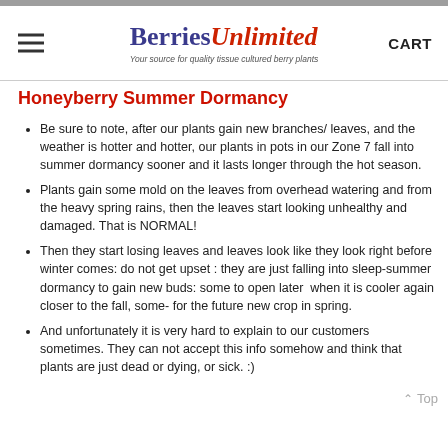Berries Unlimited — Your source for quality tissue cultured berry plants | CART
Honeyberry Summer Dormancy
Be sure to note, after our plants gain new branches/ leaves, and the weather is hotter and hotter, our plants in pots in our Zone 7 fall into summer dormancy sooner and it lasts longer through the hot season.
Plants gain some mold on the leaves from overhead watering and from the heavy spring rains, then the leaves start looking unhealthy and damaged. That is NORMAL!
Then they start losing leaves and leaves look like they look right before winter comes: do not get upset : they are just falling into sleep-summer dormancy to gain new buds: some to open later  when it is cooler again closer to the fall, some- for the future new crop in spring.
And unfortunately it is very hard to explain to our customers sometimes. They can not accept this info somehow and think that plants are just dead or dying, or sick. :)